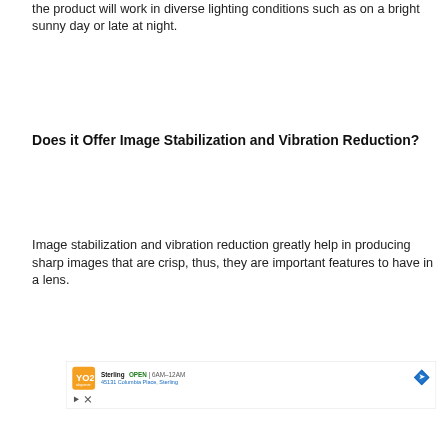the product will work in diverse lighting conditions such as on a bright sunny day or late at night.
Does it Offer Image Stabilization and Vibration Reduction?
Image stabilization and vibration reduction greatly help in producing sharp images that are crisp, thus, they are important features to have in a lens.
[Figure (other): Advertisement banner for Sterling store: orange logo with stylized design, showing OPEN 6AM-12AM, 45131 Columbia Place, Sterling, with a navigation arrow icon. Below the ad are play and close control icons.]